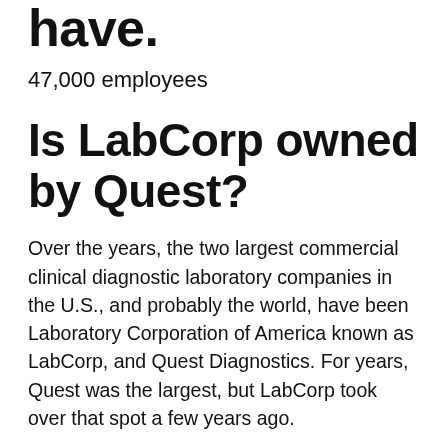have.
47,000 employees
Is LabCorp owned by Quest?
Over the years, the two largest commercial clinical diagnostic laboratory companies in the U.S., and probably the world, have been Laboratory Corporation of America known as LabCorp, and Quest Diagnostics. For years, Quest was the largest, but LabCorp took over that spot a few years ago.
Who is Quest Diagnostics?